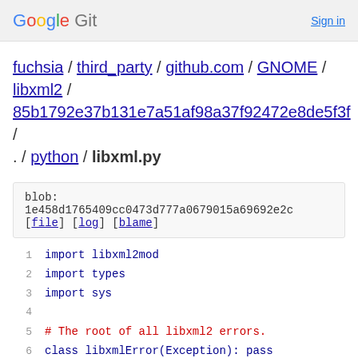Google Git  Sign in
fuchsia / third_party / github.com / GNOME / libxml2 / 85b1792e37b131e7a51af98a37f92472e8de5f3f / . / python / libxml.py
blob: 1e458d1765409cc0473d777a0679015a69692e2c [file] [log] [blame]
1  import libxml2mod
2  import types
3  import sys
4
5  # The root of all libxml2 errors.
6  class libxmlError(Exception): pass
7
8  # Type of the wrapper class for the C objects w